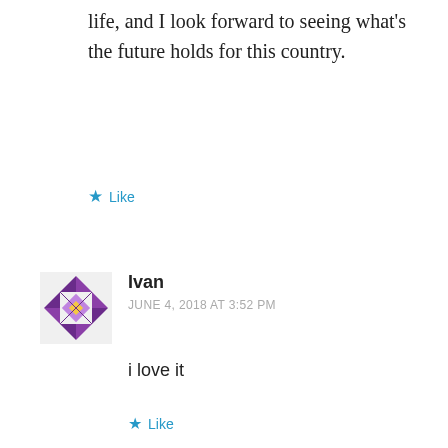life, and I look forward to seeing what's the future holds for this country.
★ Like
[Figure (illustration): User avatar for Ivan — decorative geometric/tribal pattern in purple and yellow]
Ivan
JUNE 4, 2018 AT 3:52 PM
i love it
★ Like
Privacy & Cookies: This site uses cookies. By continuing to use this website, you agree to their use.
To find out more, including how to control cookies, see here: Cookie Policy
Close and accept
[Figure (illustration): User avatar for Baltazar Pizano Ramos — decorative geometric pattern in green]
Baltazar Pizano Ramos